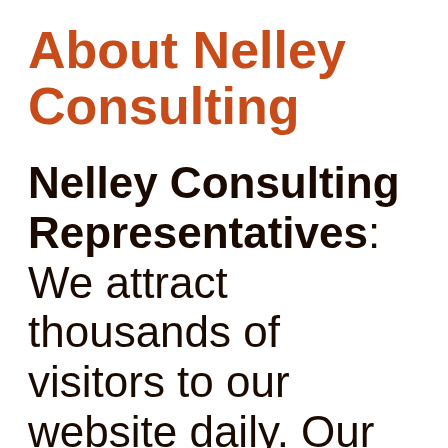About Nelley Consulting
Nelley Consulting Representatives: We attract thousands of visitors to our website daily. Our visitors would benefit substantially from an accurate description